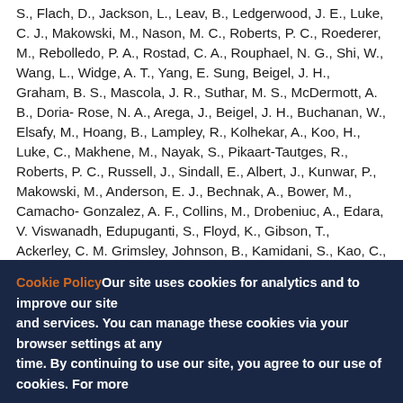S., Flach, D., Jackson, L., Leav, B., Ledgerwood, J. E., Luke, C. J., Makowski, M., Nason, M. C., Roberts, P. C., Roederer, M., Rebolledo, P. A., Rostad, C. A., Rouphael, N. G., Shi, W., Wang, L., Widge, A. T., Yang, E. Sung, Beigel, J. H., Graham, B. S., Mascola, J. R., Suthar, M. S., McDermott, A. B., Doria-Rose, N. A., Arega, J., Beigel, J. H., Buchanan, W., Elsafy, M., Hoang, B., Lampley, R., Kolhekar, A., Koo, H., Luke, C., Makhene, M., Nayak, S., Pikaart-Tautges, R., Roberts, P. C., Russell, J., Sindall, E., Albert, J., Kunwar, P., Makowski, M., Anderson, E. J., Bechnak, A., Bower, M., Camacho-Gonzalez, A. F., Collins, M., Drobeniuc, A., Edara, V. Viswanadh, Edupuganti, S., Floyd, K., Gibson, T., Ackerley, C. M. Grimsley, Johnson, B., Kamidani, S., Kao, C., Kelley, C., Lai, L., Macenczak, H., McCullough, M. Paine, Peters, E., Phadke, V. K., Rebolledo, P. A., Rostad, C. A., Rouphael, N., Scherer, E., Sherman, A., Stephens, K., Suthar, M. S., Teherani, M. Traenkner, L. Winston, L. Yildirim, I. Barr, L.
Cookie Policy Our site uses cookies for analytics and to improve our site and services. You can manage these cookies via your browser settings at any time. By continuing to use our site, you agree to our use of cookies. For more